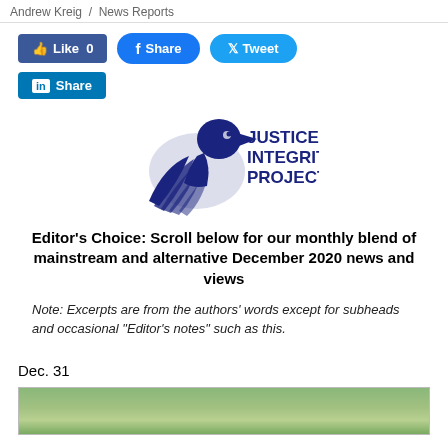Andrew Kreig / News Reports
[Figure (other): Social media share buttons: Like 0 (Facebook), Share (Facebook), Tweet (Twitter), Share (LinkedIn)]
[Figure (logo): Justice Integrity Project logo with eagle head and text JUSTICE INTEGRITY PROJECT in dark navy blue]
Editor's Choice: Scroll below for our monthly blend of mainstream and alternative December 2020 news and views
Note: Excerpts are from the authors' words except for subheads and occasional "Editor's notes" such as this.
Dec. 31
[Figure (photo): Partial view of a landscape/outdoor photo at the bottom of the page]